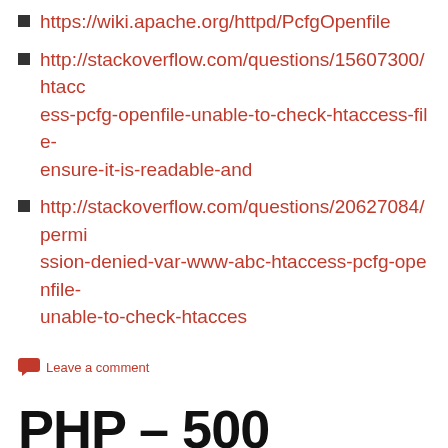https://wiki.apache.org/httpd/PcfgOpenfile
http://stackoverflow.com/questions/15607300/htaccess-pcfg-openfile-unable-to-check-htaccess-file-ensure-it-is-readable-and
http://stackoverflow.com/questions/20627084/permission-denied-var-www-abc-htaccess-pcfg-openfile-unable-to-check-htacces
Leave a comment
PHP – 500 internal